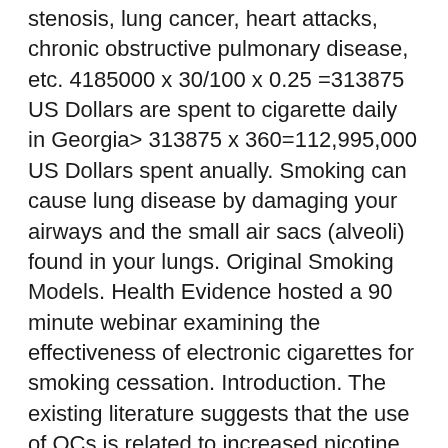stenosis, lung cancer, heart attacks, chronic obstructive pulmonary disease, etc. 4185000 x 30/100 x 0.25 =313875 US Dollars are spent to cigarette daily in Georgia> 313875 x 360=112,995,000 US Dollars spent anually. Smoking can cause lung disease by damaging your airways and the small air sacs (alveoli) found in your lungs. Original Smoking Models. Health Evidence hosted a 90 minute webinar examining the effectiveness of electronic cigarettes for smoking cessation. Introduction. The existing literature suggests that the use of OCs is related to increased nicotine metabolism and physiological stress response. Have you been keen on cigarette smoking however , you are afraid? ESCOLA ESTADUAL âDR. Original M&D Series. 1,2. 1 WHAT YOU NEED TO KNOW â¢ More than 400,000 deaths in the U.S. each year are from smoking-related illnesses.â¢ Smoking kills an estimated 120,000 people each year in the UK. Just download PPTX and use the theme in Google Slides and in...